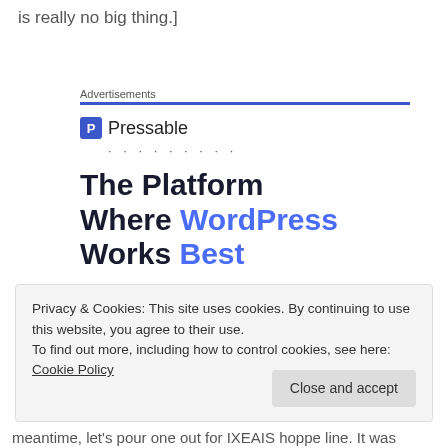is really no big thing.]
[Figure (other): Pressable advertisement banner with logo, dots, and headline 'The Platform Where WordPress Works Best']
Privacy & Cookies: This site uses cookies. By continuing to use this website, you agree to their use.
To find out more, including how to control cookies, see here: Cookie Policy
Close and accept
meantime, let's pour one out for IXEAIS hoppe line. It was